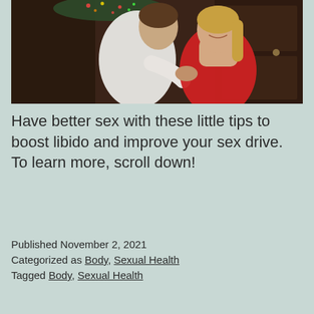[Figure (photo): A couple in an intimate pose; a man in a white shirt nuzzles a smiling woman in a red dress, with a Christmas tree in the background.]
Have better sex with these little tips to boost libido and improve your sex drive. To learn more, scroll down!
Published November 2, 2021
Categorized as Body, Sexual Health
Tagged Body, Sexual Health